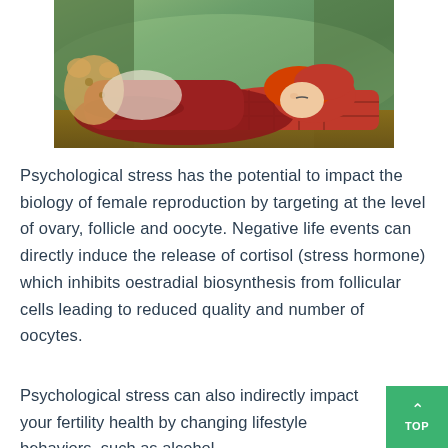[Figure (photo): A young woman with red hair lying down on a bench outdoors, resting her head on a red plaid pillow, wearing a dark red outfit, surrounded by a blurred green park background.]
Psychological stress has the potential to impact the biology of female reproduction by targeting at the level of ovary, follicle and oocyte. Negative life events can directly induce the release of cortisol (stress hormone) which inhibits oestradial biosynthesis from follicular cells leading to reduced quality and number of oocytes.
Psychological stress can also indirectly impact your fertility health by changing lifestyle behaviors, such as alcohol